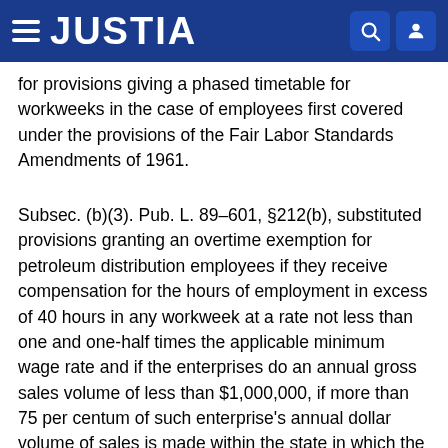JUSTIA
for provisions giving a phased timetable for workweeks in the case of employees first covered under the provisions of the Fair Labor Standards Amendments of 1961.
Subsec. (b)(3). Pub. L. 89–601, §212(b), substituted provisions granting an overtime exemption for petroleum distribution employees if they receive compensation for the hours of employment in excess of 40 hours in any workweek at a rate not less than one and one-half times the applicable minimum wage rate and if the enterprises do an annual gross sales volume of less than $1,000,000, if more than 75 per centum of such enterprise's annual dollar volume of sales is made within the state in which the enterprise is located, and not more than 25 per centum of the annual dollar volume is to customers who are engaged in the bulk distribution for charges, for example for provisions